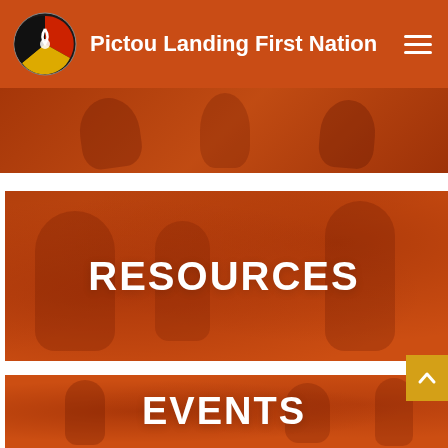Pictou Landing First Nation
[Figure (photo): Partially visible orange-tinted photo strip at top of page showing Indigenous cultural imagery]
[Figure (photo): Orange-tinted photo background for RESOURCES navigation block showing Indigenous cultural imagery]
RESOURCES
[Figure (photo): Orange-tinted photo background for EVENTS navigation block showing Indigenous cultural imagery]
EVENTS